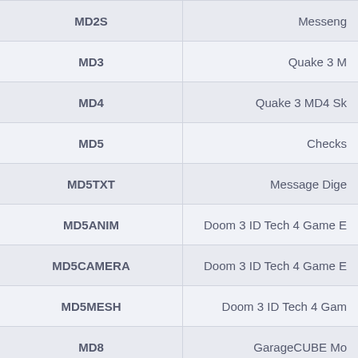| Extension | Description |
| --- | --- |
| MD2S | Messeng… |
| MD3 | Quake 3 … |
| MD4 | Quake 3 MD4 S… |
| MD5 | Checks… |
| MD5TXT | Message Dige… |
| MD5ANIM | Doom 3 ID Tech 4 Game E… |
| MD5CAMERA | Doom 3 ID Tech 4 Game … |
| MD5MESH | Doom 3 ID Tech 4 Gam… |
| MD8 | GarageCUBE M… |
| MDA | Microsoft Acce… |
| MDAT | REW M… |
| MDB | Microsoft Acces… |
| MDBACKUP | Apple IPhon… |